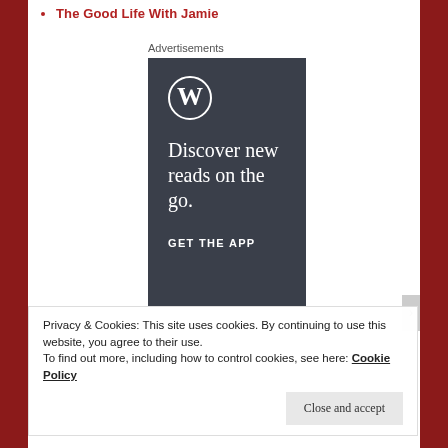The Good Life With Jamie
Advertisements
[Figure (logo): WordPress ad banner with logo, 'Discover new reads on the go.' and 'GET THE APP' on dark grey background]
Privacy & Cookies: This site uses cookies. By continuing to use this website, you agree to their use.
To find out more, including how to control cookies, see here: Cookie Policy
Close and accept